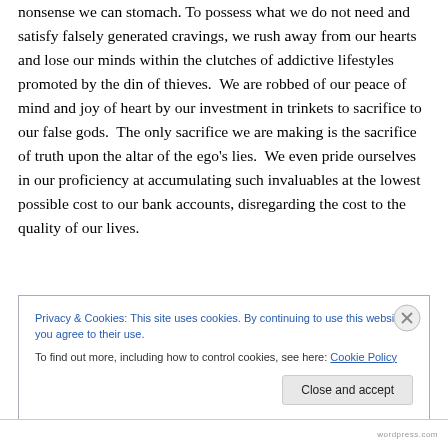nonsense we can stomach. To possess what we do not need and satisfy falsely generated cravings, we rush away from our hearts and lose our minds within the clutches of addictive lifestyles promoted by the din of thieves.  We are robbed of our peace of mind and joy of heart by our investment in trinkets to sacrifice to our false gods.  The only sacrifice we are making is the sacrifice of truth upon the altar of the ego's lies.  We even pride ourselves in our proficiency at accumulating such invaluables at the lowest possible cost to our bank accounts, disregarding the cost to the quality of our lives.
Privacy & Cookies: This site uses cookies. By continuing to use this website, you agree to their use.
To find out more, including how to control cookies, see here: Cookie Policy
Close and accept